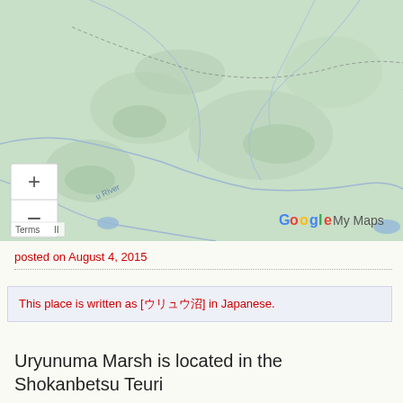[Figure (map): Google My Maps screenshot showing topographic terrain map of a region in Japan, with river features labeled (u River visible), zoom controls (+/-) on left side, Google My Maps watermark, and Terms link at bottom left. Terrain is rendered in muted greens with blue river lines.]
posted on August 4, 2015
This place is written as [ウリュウ沼] in Japanese.
Uryunuma Marsh is located in the Shokanbetsu Teuri